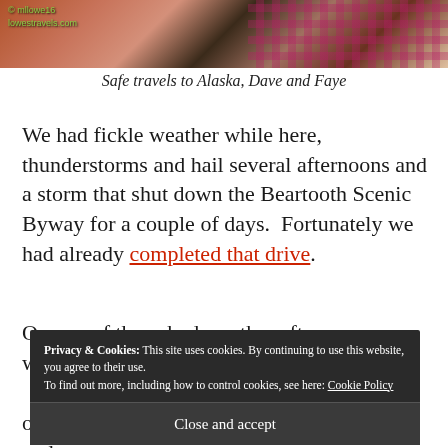[Figure (photo): Cropped photo showing a checkered pink/red tablecloth and dark background, with watermark text '© mllowe16 lowestravels.com' in green]
Safe travels to Alaska, Dave and Faye
We had fickle weather while here, thunderstorms and hail several afternoons and a storm that shut down the Beartooth Scenic Byway for a couple of days.  Fortunately we had already completed that drive.
On one of those bad weather afternoons, a wind
of those large branches didn't fall on the roof and
Privacy & Cookies: This site uses cookies. By continuing to use this website, you agree to their use. To find out more, including how to control cookies, see here: Cookie Policy
Close and accept